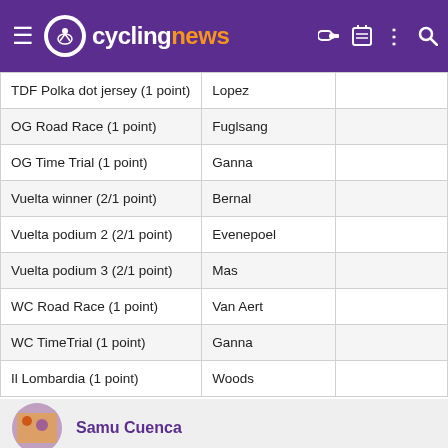cyclingnews
|  |  |  |
| --- | --- | --- |
| TDF Polka dot jersey (1 point) | Lopez |  |
| OG Road Race (1 point) | Fuglsang |  |
| OG Time Trial (1 point) | Ganna |  |
| Vuelta winner (2/1 point) | Bernal |  |
| Vuelta podium 2 (2/1 point) | Evenepoel |  |
| Vuelta podium 3 (2/1 point) | Mas |  |
| WC Road Race (1 point) | Van Aert |  |
| WC TimeTrial (1 point) | Ganna |  |
| Il Lombardia (1 point) | Woods |  |
Samu Cuenca